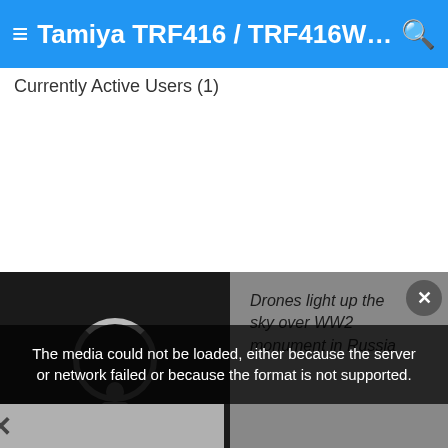≡ Tamiya TRF416 / TRF416WE / ...  🔍
Currently Active Users (1)
[Figure (screenshot): A video player showing an error: 'The media could not be loaded, either because the server or network failed or because the format is not supported.' Overlaid on a dark video thumbnail. To the right is a grey panel with text 'Drones light up the sky over WW2 monument in Russia'. There is an X close button and a dismiss bar at the bottom.]